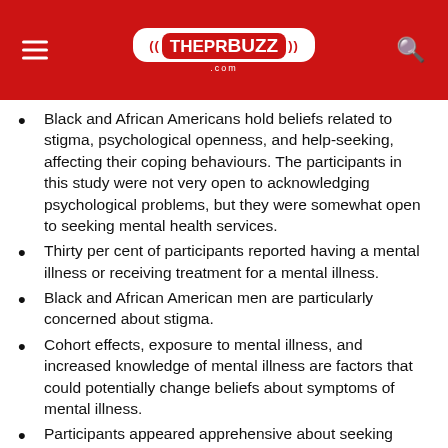THEPRBUZZ.com
Black and African Americans hold beliefs related to stigma, psychological openness, and help-seeking, affecting their coping behaviours. The participants in this study were not very open to acknowledging psychological problems, but they were somewhat open to seeking mental health services.
Thirty per cent of participants reported having a mental illness or receiving treatment for a mental illness.
Black and African American men are particularly concerned about stigma.
Cohort effects, exposure to mental illness, and increased knowledge of mental illness are factors that could potentially change beliefs about symptoms of mental illness.
Participants appeared apprehensive about seeking